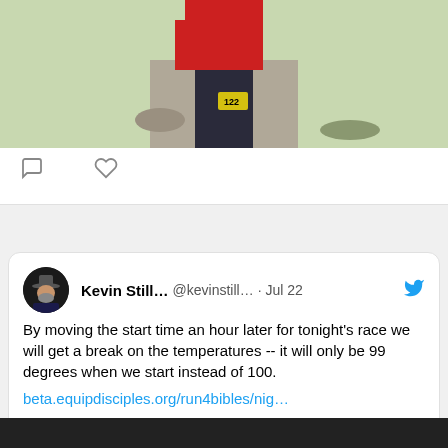[Figure (photo): Partial photo of a runner wearing a red shirt and dark pants with race number 122, on a trail with greenery in background]
[Figure (other): Twitter action icons: comment bubble and heart (like)]
Kevin Still... @kevinstill... · Jul 22
By moving the start time an hour later for tonight's race we will get a break on the temperatures -- it will only be 99 degrees when we start instead of 100.
beta.equipdisciples.org/run4bibles/nig…
[Figure (screenshot): Link preview card for beta.equipdisciples.org showing Equip Disciples logo (black dove/bird graphic with text EQUIP DISCIP) and title 'Equip Disciples - Run4Bibles - Summ…']